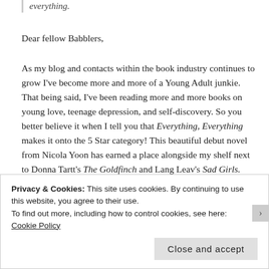everything.
Dear fellow Babblers,
As my blog and contacts within the book industry continues to grow I've become more and more of a Young Adult junkie. That being said, I've been reading more and more books on young love, teenage depression, and self-discovery. So you better believe it when I tell you that Everything, Everything makes it onto the 5 Star category! This beautiful debut novel from Nicola Yoon has earned a place alongside my shelf next to Donna Tartt's The Goldfinch and Lang Leav's Sad Girls. These are the only three books which I have every given five stars to, which means they are in every way, shape and form a magnificently wonderful read! Any book that has me holding my breath at each page,
Privacy & Cookies: This site uses cookies. By continuing to use this website, you agree to their use.
To find out more, including how to control cookies, see here:
Cookie Policy
Close and accept